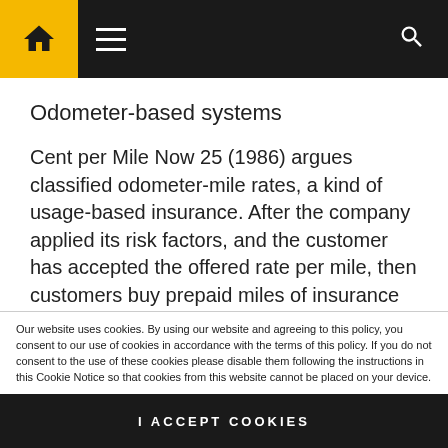Navigation bar with home icon, hamburger menu, and search icon
Odometer-based systems
Cent per Mile Now 25 (1986) argues classified odometer-mile rates, a kind of usage-based insurance. After the company applied its risk factors, and the customer has accepted the offered rate per mile, then customers buy prepaid miles of insurance protection is needed, like buying gallons of gasoline (gallons of
Our website uses cookies. By using our website and agreeing to this policy, you consent to our use of cookies in accordance with the terms of this policy. If you do not consent to the use of these cookies please disable them following the instructions in this Cookie Notice so that cookies from this website cannot be placed on your device.
I ACCEPT COOKIES